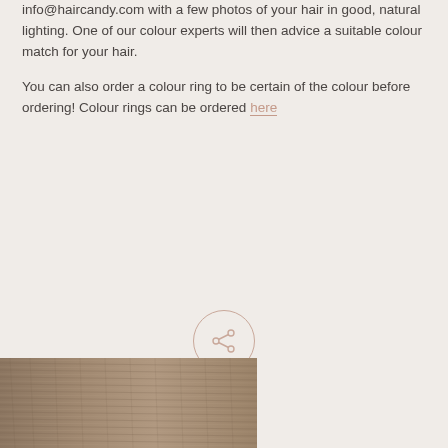info@haircandy.com with a few photos of your hair in good, natural lighting. One of our colour experts will then advice a suitable colour match for your hair.

You can also order a colour ring to be certain of the colour before ordering! Colour rings can be ordered here
[Figure (other): Share button: a circle with a share icon (node-and-lines network icon) inside, with the word SHARE below in spaced capital letters]
[Figure (photo): Close-up photo of hair strands in a brownish-blonde / ash brown color, occupying the bottom-left portion of the page]